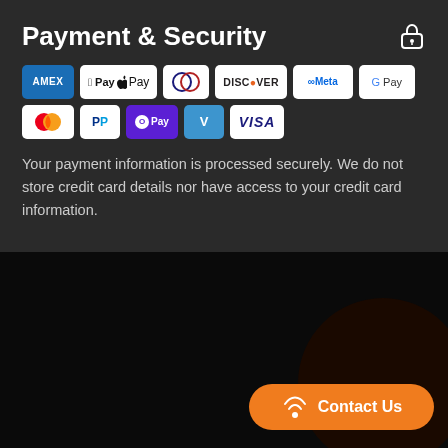Payment & Security
[Figure (infographic): Payment method logos: Amex, Apple Pay, Diners Club, Discover, Meta Pay, Google Pay, Mastercard, PayPal, OPay, Venmo, Visa]
Your payment information is processed securely. We do not store credit card details nor have access to your credit card information.
[Figure (other): Contact Us button with wifi/signal icon on orange pill-shaped button with dark circular background]